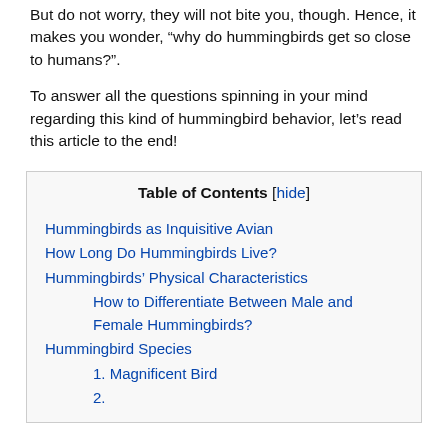But do not worry, they will not bite you, though. Hence, it makes you wonder, “why do hummingbirds get so close to humans?”.
To answer all the questions spinning in your mind regarding this kind of hummingbird behavior, let’s read this article to the end!
| Table of Contents [hide] |
| Hummingbirds as Inquisitive Avian |
| How Long Do Hummingbirds Live? |
| Hummingbirds’ Physical Characteristics |
| How to Differentiate Between Male and Female Hummingbirds? |
| Hummingbird Species |
| 1. Magnificent Bird |
| 2. (partially visible) |